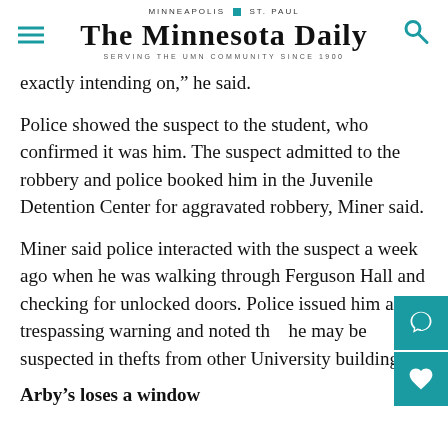MINNEAPOLIS | ST. PAUL
THE MINNESOTA DAILY
SERVING THE UMN COMMUNITY SINCE 1900
exactly intending on,” he said.
Police showed the suspect to the student, who confirmed it was him. The suspect admitted to the robbery and police booked him in the Juvenile Detention Center for aggravated robbery, Miner said.
Miner said police interacted with the suspect a week ago when he was walking through Ferguson Hall and checking for unlocked doors. Police issued him a trespassing warning and noted that he may be suspected in thefts from other University buildings.
Arby’s loses a window